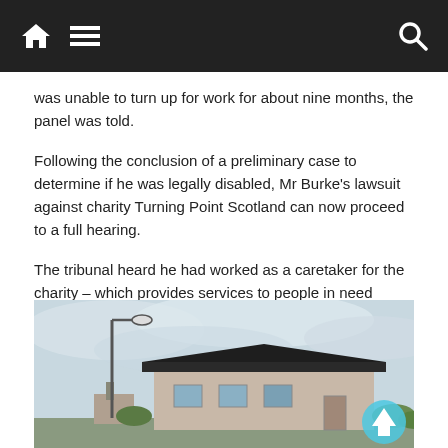Home | Menu | Search
was unable to turn up for work for about nine months, the panel was told.
Following the conclusion of a preliminary case to determine if he was legally disabled, Mr Burke's lawsuit against charity Turning Point Scotland can now proceed to a full hearing.
The tribunal heard he had worked as a caretaker for the charity – which provides services to people in need across Scotland including people with learning disabilities or mental health conditions and those experiencing homelessness – since April 2001.
[Figure (photo): Exterior photograph of a building with a street lamp in the foreground, showing a low-rise building with a dark roof under an overcast sky. A back-to-top arrow icon is visible in the bottom right corner.]